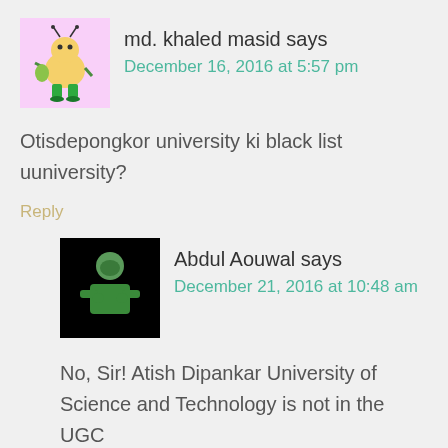md. khaled masid says
December 16, 2016 at 5:57 pm
Otisdepongkor university ki black list uuniversity?
Reply
Abdul Aouwal says
December 21, 2016 at 10:48 am
No, Sir! Atish Dipankar University of Science and Technology is not in the UGC blacklist